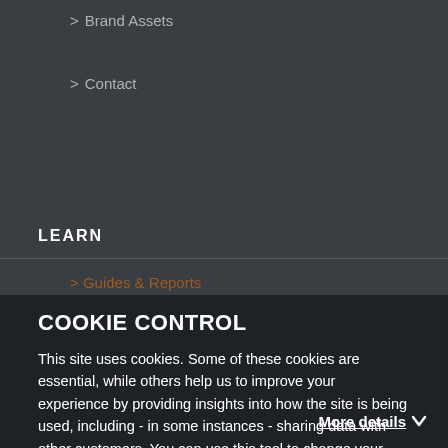> Brand Assets
> Contact
LEARN
> Guides & Reports
COOKIE CONTROL
> Courses
This site uses cookies. Some of these cookies are essential, while others help us to improve your experience by providing insights into how the site is being used, including - in some instances - sharing data with other customers. You can use this tool to change your cookie settings. Otherwise, we'll assume you're OK to continue.
I'm fine with this
> Events
More details